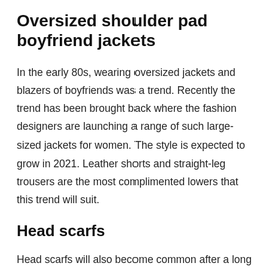Oversized shoulder pad boyfriend jackets
In the early 80s, wearing oversized jackets and blazers of boyfriends was a trend. Recently the trend has been brought back where the fashion designers are launching a range of such large-sized jackets for women. The style is expected to grow in 2021. Leather shorts and straight-leg trousers are the most complimented lowers that this trend will suit.
Head scarfs
Head scarfs will also become common after a long break from the 50s and 60s. Due to the rising heat, more consumers will be looking for fashionable head scards to